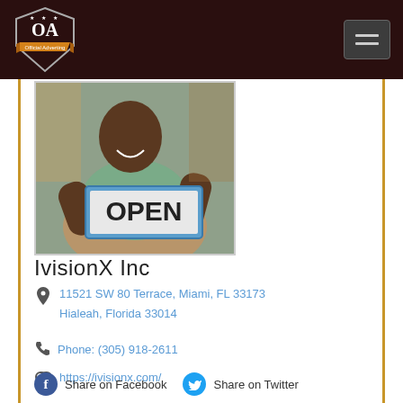OA Official Adverting — Navigation header
[Figure (photo): A person holding an OPEN sign, smiling at the camera, wearing an apron]
IvisionX Inc
11521 SW 80 Terrace, Miami, FL 33173
Hialeah, Florida 33014
Phone: (305) 918-2611
https://ivisionx.com/
Share on Facebook   Share on Twitter